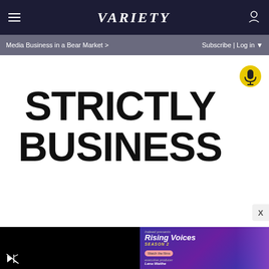VARIETY
Media Business in a Bear Market > | Subscribe | Log in
STRICTLY BUSINESS
[Figure (screenshot): Yellow podcast microphone button icon]
[Figure (screenshot): Video player panel showing muted speaker icon on black background]
[Figure (screenshot): Indeed presents Rising Voices Season 2 advertisement with Lena Waithe as executive producer]